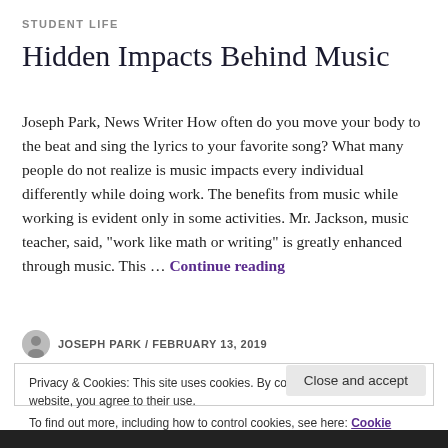STUDENT LIFE
Hidden Impacts Behind Music
Joseph Park, News Writer How often do you move your body to the beat and sing the lyrics to your favorite song? What many people do not realize is music impacts every individual differently while doing work. The benefits from music while working is evident only in some activities. Mr. Jackson, music teacher, said, “work like math or writing” is greatly enhanced through music. This … Continue reading
JOSEPH PARK / FEBRUARY 13, 2019
Privacy & Cookies: This site uses cookies. By continuing to use this website, you agree to their use.
To find out more, including how to control cookies, see here: Cookie Policy
Close and accept